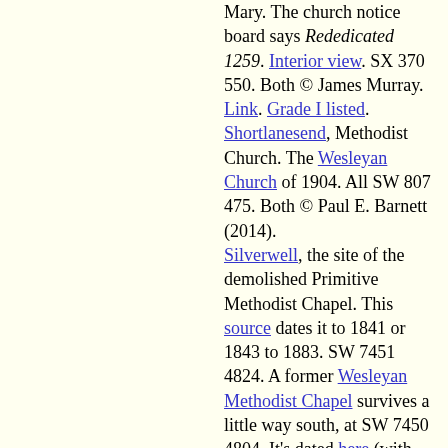Mary. The church notice board says Rededicated 1259. Interior view. SX 370 550. Both © James Murray. Link. Grade I listed. Shortlanesend, Methodist Church. The Wesleyan Church of 1904. All SW 807 475. Both © Paul E. Barnett (2014). Silverwell, the site of the demolished Primitive Methodist Chapel. This source dates it to 1841 or 1843 to 1883. SW 7451 4824. A former Wesleyan Methodist Chapel survives a little way south, at SW 7450 4804. It's dated here (with photos) to 1900-1982, on the site of a predecessor of 1824. Both © Paul E. Barnett (2022). Sithney, St. Sithney. SW 6365 2899. © Paul E. Barnett (2022). Link. Grade I listed. The former Wesleyan Methodist Chapel, just south of the village, at SW 6360 2888. © Paul E. Barnett (2022).